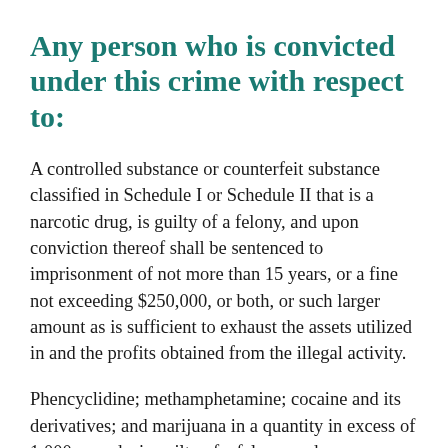Any person who is convicted under this crime with respect to:
A controlled substance or counterfeit substance classified in Schedule I or Schedule II that is a narcotic drug, is guilty of a felony, and upon conviction thereof shall be sentenced to imprisonment of not more than 15 years, or a fine not exceeding $250,000, or both, or such larger amount as is sufficient to exhaust the assets utilized in and the profits obtained from the illegal activity.
Phencyclidine; methamphetamine; cocaine and its derivatives; and marijuana in a quantity in excess of 1,000 pounds, is guilty of a felony, and upon